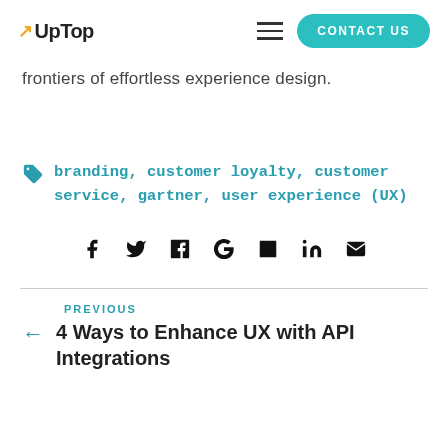UpTop | CONTACT US
frontiers of effortless experience design.
branding, customer loyalty, customer service, gartner, user experience (UX)
[Figure (infographic): Social media sharing icons: Facebook, Twitter, Pinterest, Google+, Tumblr, LinkedIn, Email]
PREVIOUS
4 Ways to Enhance UX with API Integrations